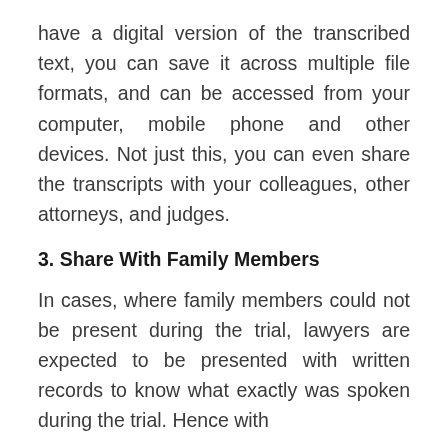have a digital version of the transcribed text, you can save it across multiple file formats, and can be accessed from your computer, mobile phone and other devices. Not just this, you can even share the transcripts with your colleagues, other attorneys, and judges.
3. Share With Family Members
In cases, where family members could not be present during the trial, lawyers are expected to be presented with written records to know what exactly was spoken during the trial. Hence with